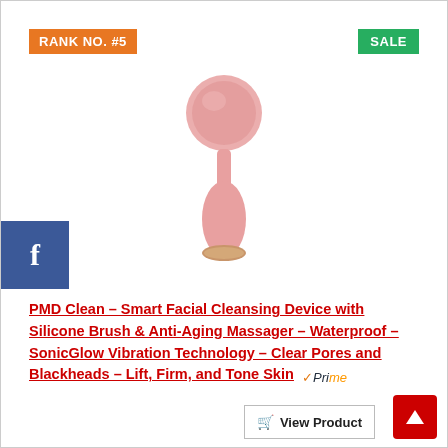RANK NO. #5
SALE
[Figure (photo): Pink PMD Clean Smart Facial Cleansing Device - a silicone facial brush with rounded brush head on top and teardrop-shaped handle]
f (Facebook icon)
PMD Clean - Smart Facial Cleansing Device with Silicone Brush & Anti-Aging Massager - Waterproof - SonicGlow Vibration Technology - Clear Pores and Blackheads - Lift, Firm, and Tone Skin
Prime
View Product